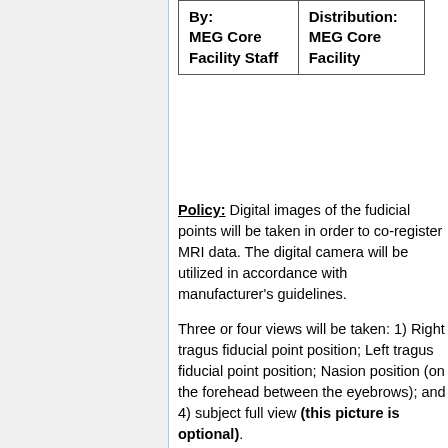| By: | Distribution: |
| --- | --- |
| MEG Core Facility Staff | MEG Core Facility |
Policy: Digital images of the fudicial points will be taken in order to co-register MRI data. The digital camera will be utilized in accordance with manufacturer's guidelines.
Three or four views will be taken: 1) Right tragus fiducial point position; Left tragus fiducial point position; Nasion position (on the forehead between the eyebrows); and 4) subject full view (this picture is optional).
Procedure: